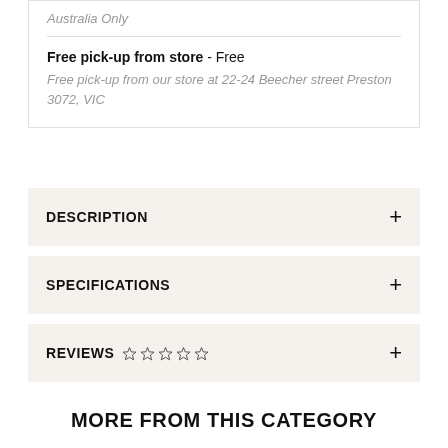Australia Only
Free pick-up from store - Free
Free pick-up from our store at 22-24 Beecher street Preston 3072, VIC
DESCRIPTION
SPECIFICATIONS
REVIEWS ☆ ☆ ☆ ☆ ☆
MORE FROM THIS CATEGORY